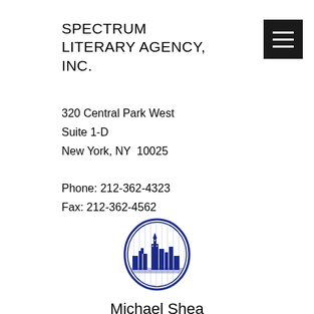SPECTRUM LITERARY AGENCY, INC.
320 Central Park West
Suite 1-D
New York, NY  10025
Phone: 212-362-4323
Fax: 212-362-4562
[Figure (logo): Oval blue ink stamp logo featuring a cityscape silhouette (New York skyline) with hatched background, used as the Spectrum Literary Agency logo]
Michael Shea
1946-2014
[Figure (photo): Partial photo of a person (Michael Shea), cropped at bottom of page, showing top of head with grey/white hair against dark background]